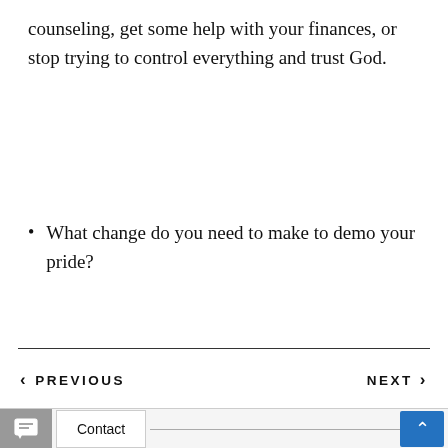counseling, get some help with your finances, or stop trying to control everything and trust God.
What change do you need to make to demo your pride?
< PREVIOUS   NEXT >